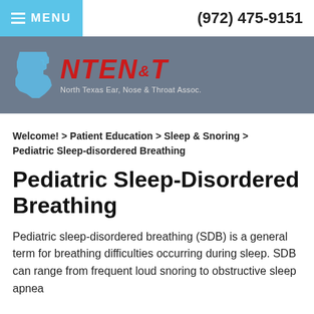≡ MENU   (972) 475-9151
[Figure (logo): NTEN&T North Texas Ear, Nose & Throat Assoc. logo with Texas state outline on grey background]
Welcome! > Patient Education > Sleep & Snoring > Pediatric Sleep-disordered Breathing
Pediatric Sleep-Disordered Breathing
Pediatric sleep-disordered breathing (SDB) is a general term for breathing difficulties occurring during sleep. SDB can range from frequent loud snoring to obstructive sleep apnea